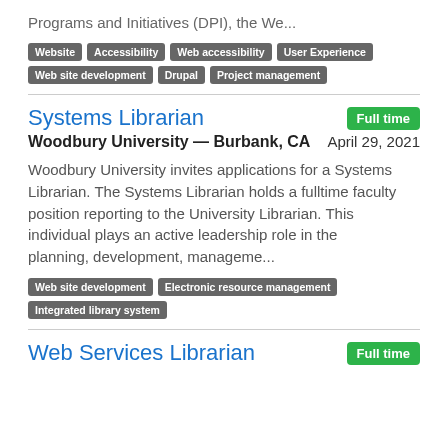Programs and Initiatives (DPI), the We...
Website | Accessibility | Web accessibility | User Experience | Web site development | Drupal | Project management
Systems Librarian
Full time
Woodbury University — Burbank, CA
April 29, 2021
Woodbury University invites applications for a Systems Librarian. The Systems Librarian holds a fulltime faculty position reporting to the University Librarian. This individual plays an active leadership role in the planning, development, manageme...
Web site development | Electronic resource management | Integrated library system
Web Services Librarian
Full time